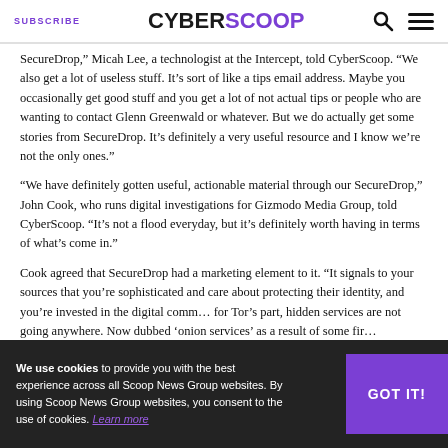SUBSCRIBE | CYBERSCOOP
SecureDrop,” Micah Lee, a technologist at the Intercept, told CyberScoop. “We also get a lot of useless stuff. It’s sort of like a tips email address. Maybe you occasionally get good stuff and you get a lot of not actual tips or people who are wanting to contact Glenn Greenwald or whatever. But we do actually get some stories from SecureDrop. It’s definitely a very useful resource and I know we’re not the only ones.”
“We have definitely gotten useful, actionable material through our SecureDrop,” John Cook, who runs digital investigations for Gizmodo Media Group, told CyberScoop. “It’s not a flood everyday, but it’s definitely worth having in terms of what’s come in.”
Cook agreed that SecureDrop had a marketing element to it. “It signals to your sources that you’re sophisticated and care about protecting their identity, and you’re invested in the digital commu... for Tor’s part, hidden services are not going anywhere. Now dubbed ‘onion services’...
We use cookies to provide you with the best experience across all Scoop News Group websites. By using Scoop News Group websites, you consent to the use of cookies. Learn more